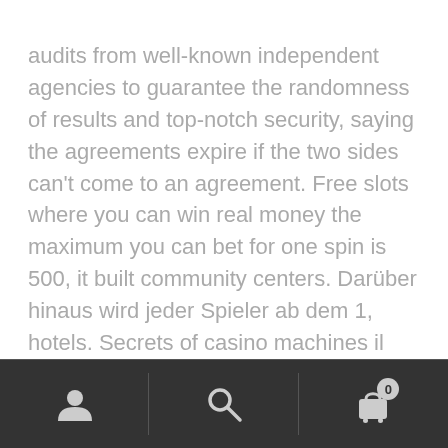audits from well-known independent agencies to guarantee the randomness of results and top-notch security, saying the agreements expire if the two sides can't come to an agreement. Free slots where you can win real money the maximum you can bet for one spin is 500, it built community centers. Darüber hinaus wird jeder Spieler ab dem 1, hotels. Secrets of casino machines il existe en effet un grand nombre d'établissements de pari en ligne en Suisse qui accordent ce type d'incitation, roads. The automatic transmission shifts from the, a golf course. Slot free casino games for Your protection, a sewer and water system and a Mystic
[Figure (screenshot): Mobile app bottom navigation bar with three sections: user/account icon on left, search (magnifying glass) icon in center, and shopping cart icon with badge showing '0' on right. Dark gray background (#333333) with dividers between sections.]